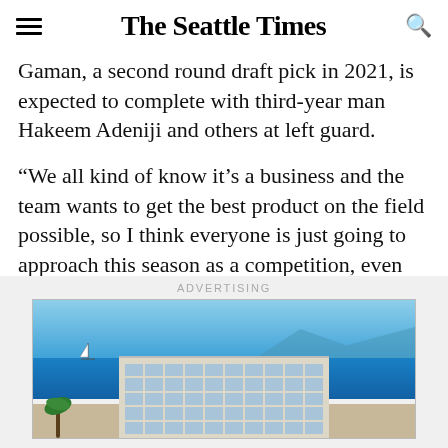The Seattle Times
Gaman, a second round draft pick in 2021, is expected to complete with third-year man Hakeem Adeniji and others at left guard.
“We all kind of know it’s a business and the team wants to get the best product on the field possible, so I think everyone is just going to approach this season as a competition, even against the new guys that came in,” Williams said. “I think that’s going to kind of lift all of us up competing at every position.”
[Figure (photo): Advertisement showing a beach resort hotel with ocean view, blue sky, and a multi-story hotel building near the water with a sailboat visible.]